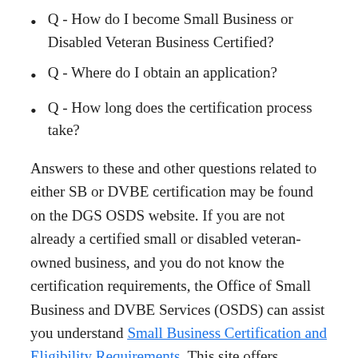Q - How do I become Small Business or Disabled Veteran Business Certified?
Q - Where do I obtain an application?
Q - How long does the certification process take?
Answers to these and other questions related to either SB or DVBE certification may be found on the DGS OSDS website. If you are not already a certified small or disabled veteran-owned business, and you do not know the certification requirements, the Office of Small Business and DVBE Services (OSDS) can assist you understand Small Business Certification and Eligibility Requirements. This site offers comprehensive information about SB/DVBE benefits and eligibility requirements.
Please contact us so that we may include you on our